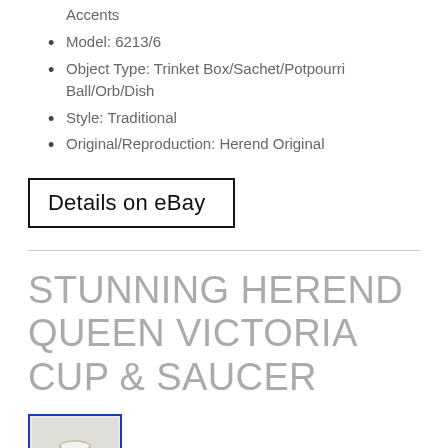Accents
Model: 6213/6
Object Type: Trinket Box/Sachet/Potpourri Ball/Orb/Dish
Style: Traditional
Original/Reproduction: Herend Original
Details on eBay
STUNNING HEREND QUEEN VICTORIA CUP & SAUCER
[Figure (photo): Small thumbnail image of a Herend Queen Victoria cup and saucer with blue border]